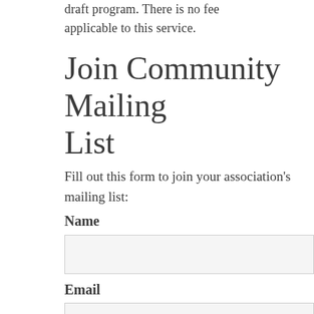draft program. There is no fee applicable to this service.
Join Community Mailing List
Fill out this form to join your association's mailing list:
Name
Email